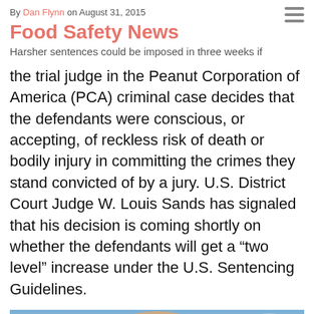By Dan Flynn on August 31, 2015
Food Safety News
Harsher sentences could be imposed in three weeks if the trial judge in the Peanut Corporation of America (PCA) criminal case decides that the defendants were conscious, or accepting, of reckless risk of death or bodily injury in committing the crimes they stand convicted of by a jury. U.S. District Court Judge W. Louis Sands has signaled that his decision is coming shortly on whether the defendants will get a “two level” increase under the U.S. Sentencing Guidelines.
[Figure (photo): Exterior photograph of a courthouse building at dusk, showing a rounded central facade with illuminated windows and light pink/beige stone walls against a blue sky.]